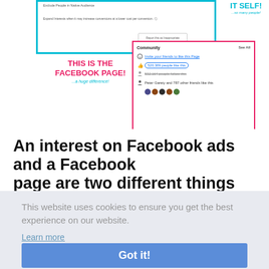[Figure (screenshot): Screenshot of a Facebook Page Community section with a pink border highlighting the community panel showing 520,309 likes and 532,164 followers. A cyan border on the left highlights ad settings. Red text labels say 'THIS IS THE FACEBOOK PAGE!' and cyan text shows '...a huge difference!'. Top right shows 'IT SELF!' and '...so many people!' in cyan.]
An interest on Facebook ads and a Facebook page are two different things
This website uses cookies to ensure you get the best experience on our website.
Learn more
Got it!
day, but at the moment, Facebook makes the